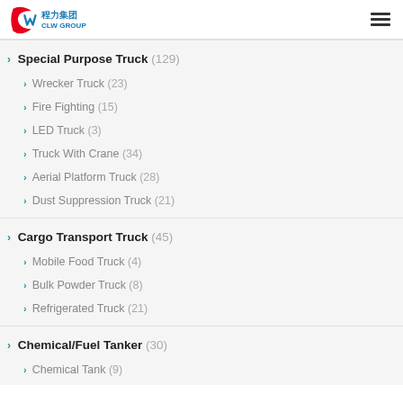CLW GROUP 程力集团
Special Purpose Truck (129)
Wrecker Truck (23)
Fire Fighting (15)
LED Truck (3)
Truck With Crane (34)
Aerial Platform Truck (28)
Dust Suppression Truck (21)
Cargo Transport Truck (45)
Mobile Food Truck (4)
Bulk Powder Truck (8)
Refrigerated Truck (21)
Chemical/Fuel Tanker (30)
Chemical Tank (9)